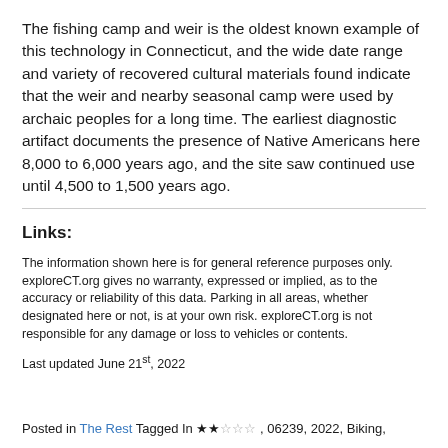The fishing camp and weir is the oldest known example of this technology in Connecticut, and the wide date range and variety of recovered cultural materials found indicate that the weir and nearby seasonal camp were used by archaic peoples for a long time. The earliest diagnostic artifact documents the presence of Native Americans here 8,000 to 6,000 years ago, and the site saw continued use until 4,500 to 1,500 years ago.
Links:
The information shown here is for general reference purposes only. exploreCT.org gives no warranty, expressed or implied, as to the accuracy or reliability of this data. Parking in all areas, whether designated here or not, is at your own risk. exploreCT.org is not responsible for any damage or loss to vehicles or contents.
Last updated June 21st, 2022
Posted in The Rest Tagged In ★★☆☆☆, 06239, 2022, Biking,